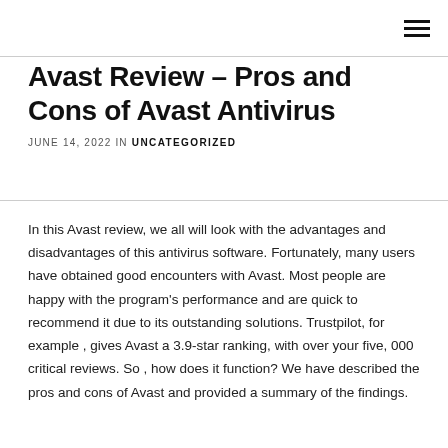Avast Review – Pros and Cons of Avast Antivirus
JUNE 14, 2022 IN UNCATEGORIZED
In this Avast review, we all will look with the advantages and disadvantages of this antivirus software. Fortunately, many users have obtained good encounters with Avast. Most people are happy with the program's performance and are quick to recommend it due to its outstanding solutions. Trustpilot, for example , gives Avast a 3.9-star ranking, with over your five, 000 critical reviews. So , how does it function? We have described the pros and cons of Avast and provided a summary of the findings.